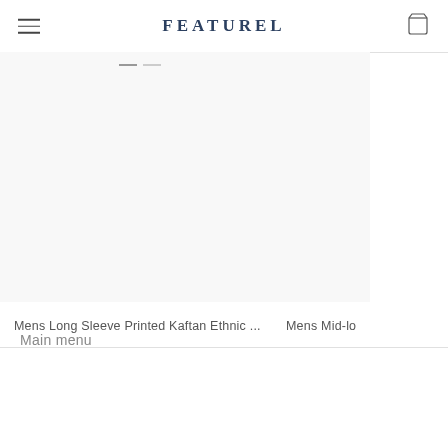FEATUREL
[Figure (photo): Product image area for Mens Long Sleeve Printed Kaftan Ethnic clothing item, shown in a white/light background]
Mens Long Sleeve Printed Kaftan Ethnic ...
$25.99  $52.09
[Figure (photo): Partial product image for Mens Mid-length item]
Mens Mid-lo
$19.99
Main menu